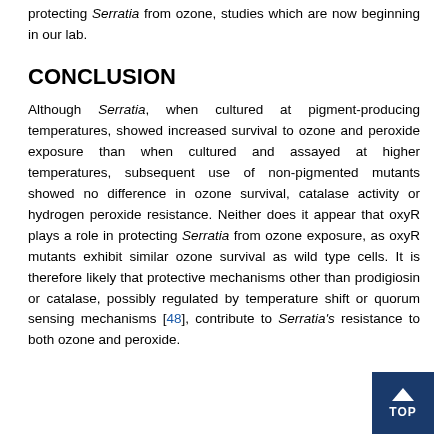protecting Serratia from ozone, studies which are now beginning in our lab.
CONCLUSION
Although Serratia, when cultured at pigment-producing temperatures, showed increased survival to ozone and peroxide exposure than when cultured and assayed at higher temperatures, subsequent use of non-pigmented mutants showed no difference in ozone survival, catalase activity or hydrogen peroxide resistance. Neither does it appear that oxyR plays a role in protecting Serratia from ozone exposure, as oxyR mutants exhibit similar ozone survival as wild type cells. It is therefore likely that protective mechanisms other than prodigiosin or catalase, possibly regulated by temperature shift or quorum sensing mechanisms [48], contribute to Serratia's resistance to both ozone and peroxide.